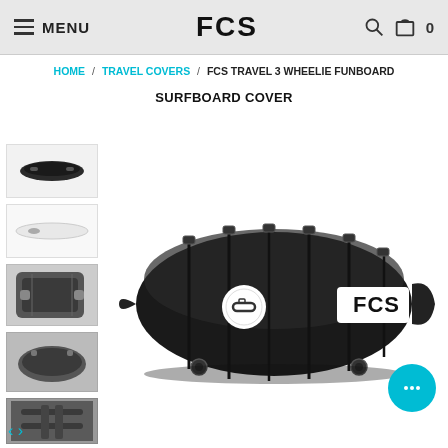MENU | FCS | 0
HOME / TRAVEL COVERS / FCS TRAVEL 3 WHEELIE FUNBOARD SURFBOARD COVER
FCS TRAVEL 3 WHEELIE FUNBOARD SURFBOARD COVER
[Figure (photo): Thumbnail 1: top view of black surfboard bag]
[Figure (photo): Thumbnail 2: side profile of white surfboard]
[Figure (photo): Thumbnail 3: corner detail of black surfboard bag with buckles]
[Figure (photo): Thumbnail 4: side detail of black surfboard bag]
[Figure (photo): Thumbnail 5: close-up of black fabric straps]
[Figure (photo): Main product image: black FCS Travel 3 Wheelie Funboard Surfboard Cover, full view on white background, showing FCS logo, straps, buckles, and wheel system]